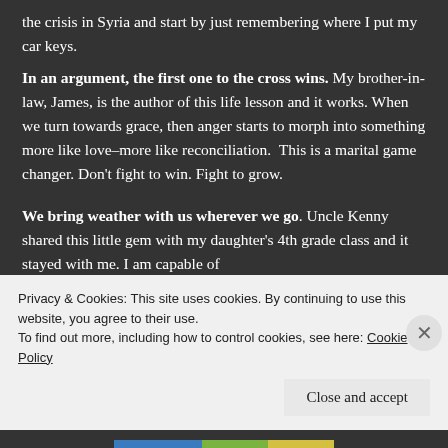the crisis in Syria and start by just remembering where I put my car keys.
In an argument, the first one to the cross wins. My brother-in-law, James, is the author of this life lesson and it works. When we turn towards grace, then anger starts to morph into something more like love–more like reconciliation.  This is a marital game changer. Don't fight to win. Fight to grow.
We bring weather with us wherever we go. Uncle Kenny shared this little gem with my daughter's 4th grade class and it stayed with me. I am capable of
Privacy & Cookies: This site uses cookies. By continuing to use this website, you agree to their use.
To find out more, including how to control cookies, see here: Cookie Policy